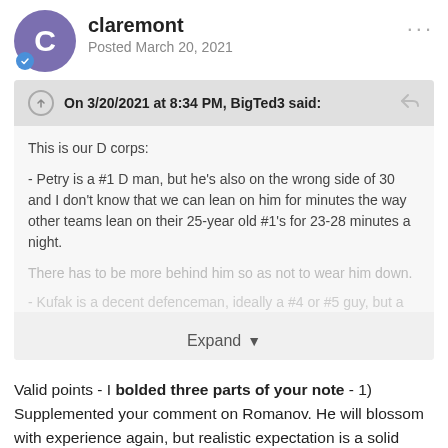claremont — Posted March 20, 2021
On 3/20/2021 at 8:34 PM, BigTed3 said:
This is our D corps:

- Petry is a #1 D man, but he's also on the wrong side of 30 and I don't know that we can lean on him for minutes the way other teams lean on their 25-year old #1's for 23-28 minutes a night. There has to be more behind him so as not to wear him down.

Kufak is a decent defenceman, ideally a #4 or #5 guy, but a guy...
Expand
Valid points - I bolded three parts of your note - 1) Supplemented your comment on Romanov. He will blossom with experience again, but realistic expectation is a solid complimentary pairing that can play both the Left and right sides with equal ability. 2) CORE PLANS - There is duplicity overlap between Chiarot and Edmundson - You correctly analyzed that when Edmundson was signed but I didn't quite realize his